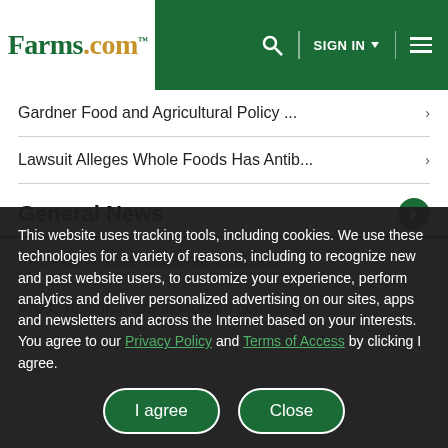Farms.com — SIGN IN — navigation header
Gardner Food and Agricultural Policy ... ›
Lawsuit Alleges Whole Foods Has Antib... ›
General News
Province invests additional $350,000 ... ›
AAFC research site in Morden houses o... ›
This website uses tracking tools, including cookies. We use these technologies for a variety of reasons, including to recognize new and past website users, to customize your experience, perform analytics and deliver personalized advertising on our sites, apps and newsletters and across the Internet based on your interests. You agree to our Privacy Policy and Terms of Access by clicking I agree.